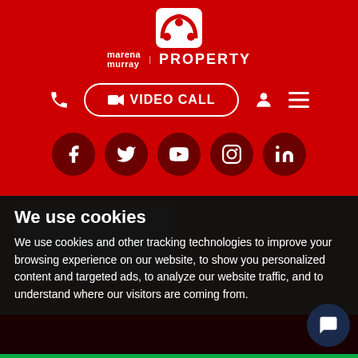[Figure (logo): Marena Murray Property logo with stylized 'mm' arc icon and text 'marena murray PROPERTY' in white on red background]
[Figure (infographic): Navigation bar with phone icon, VIDEO CALL button with camera icon, user icon, and hamburger menu icon on red background]
[Figure (infographic): Social media icons row: Facebook, Twitter, YouTube, Instagram, LinkedIn — white icons on dark red circular backgrounds]
We use cookies
We use cookies and other tracking technologies to improve your browsing experience on our website, to show you personalized content and targeted ads, to analyze our website traffic, and to understand where our visitors are coming from.